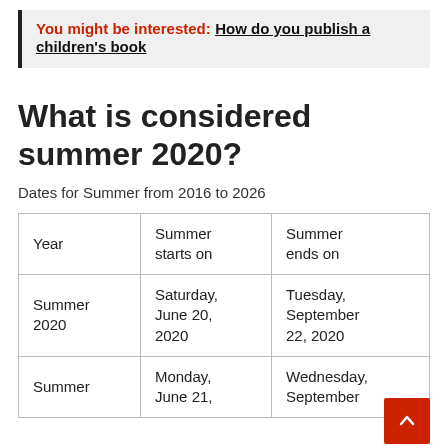You might be interested: How do you publish a children's book
What is considered summer 2020?
Dates for Summer from 2016 to 2026
| Year | Summer starts on | Summer ends on |
| --- | --- | --- |
| Summer 2020 | Saturday, June 20, 2020 | Tuesday, September 22, 2020 |
| Summer | Monday, June 21, | Wednesday, September |